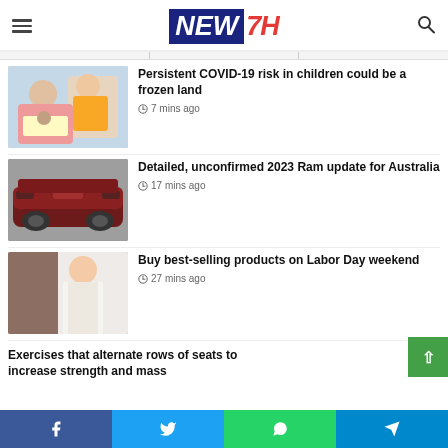NEW7H
[Figure (photo): Older woman helping young child with schoolwork at a table]
Persistent COVID-19 risk in children could be a frozen land
7 mins ago
[Figure (photo): Dark red RAM pickup truck photographed outdoors]
Detailed, unconfirmed 2023 Ram update for Australia
17 mins ago
[Figure (photo): Woman in white sleeveless dress standing in a doorway]
Buy best-selling products on Labor Day weekend
27 mins ago
Exercises that alternate rows of seats to increase strength and mass